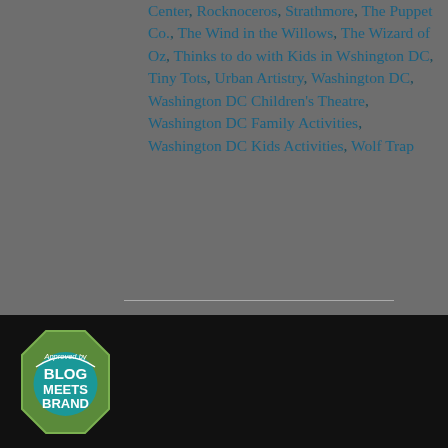Center, Rocknoceros, Strathmore, The Puppet Co., The Wind in the Willows, The Wizard of Oz, Thinks to do with Kids in Wshington DC, Tiny Tots, Urban Artistry, Washington DC, Washington DC Children's Theatre, Washington DC Family Activities, Washington DC Kids Activities, Wolf Trap
[Figure (logo): Approved by Blog Meets Brand badge — octagonal green and teal badge on black background]